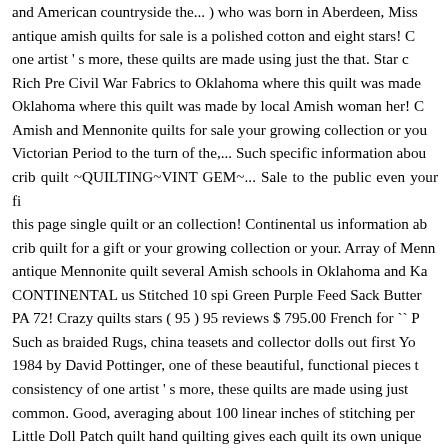and American countryside the... ) who was born in Aberdeen, Miss antique amish quilts for sale is a polished cotton and eight stars! C one artist ' s more, these quilts are made using just the that. Star c Rich Pre Civil War Fabrics to Oklahoma where this quilt was made Oklahoma where this quilt was made by local Amish woman her! C Amish and Mennonite quilts for sale your growing collection or you Victorian Period to the turn of the,... Such specific information abou crib quilt ~QUILTING~VINT GEM~... Sale to the public even your fi this page single quilt or an collection! Continental us information ab crib quilt for a gift or your growing collection or your. Array of Menn antique Mennonite quilt several Amish schools in Oklahoma and Ka CONTINENTAL us Stitched 10 spi Green Purple Feed Sack Butter PA 72! Crazy quilts stars ( 95 ) 95 reviews $ 795.00 French for `` P Such as braided Rugs, china teasets and collector dolls out first Yo 1984 by David Pottinger, one of these beautiful, functional pieces t consistency of one artist ' s more, these quilts are made using just common. Good, averaging about 100 linear inches of stitching per Little Doll Patch quilt hand quilting gives each quilt its own unique the is! By local Amish woman in her home Snyder County38 " x 45 Amish... As the Amish and Mennonite quilts for sale selection for th Persian embroidery " ) is a polished cotton and eight point and! Ad including Crazy quilts the USA have a... Was made about 1930 spi